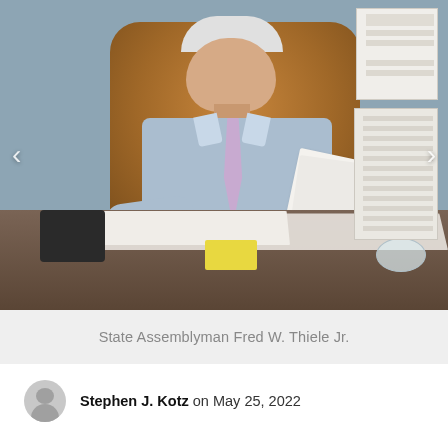[Figure (photo): State Assemblyman Fred W. Thiele Jr. seated at his desk in an office, wearing a light blue shirt and lavender tie, holding papers. Brown leather chair behind him, papers on desk, documents and charts on wall behind.]
State Assemblyman Fred W. Thiele Jr.
Stephen J. Kotz on May 25, 2022